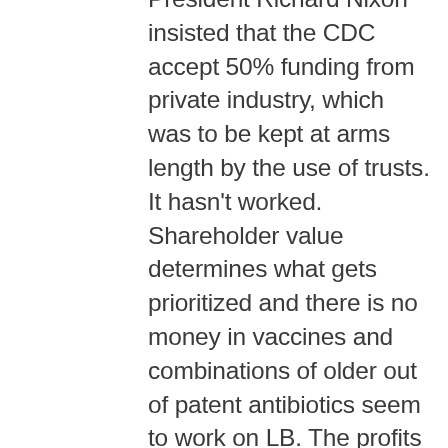President Richard Nixon insisted that the CDC accept 50% funding from private industry, which was to be kept at arms length by the use of trusts. It hasn't worked. Shareholder value determines what gets prioritized and there is no money in vaccines and combinations of older out of patent antibiotics seem to work on LB. The profits for industry are in marketing products to treat the chronic diseases of aging. The problem for Lyme is that it doesn't kill enough people outright to warrant much attention. If you would like a better